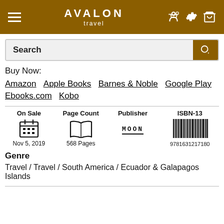AVALON travel
Buy Now:
Amazon   Apple Books   Barnes & Noble   Google Play   Ebooks.com   Kobo
| On Sale | Page Count | Publisher | ISBN-13 |
| --- | --- | --- | --- |
| Nov 5, 2019 | 568 Pages | MOON | 9781631217180 |
Genre
Travel / Travel / South America / Ecuador & Galapagos Islands